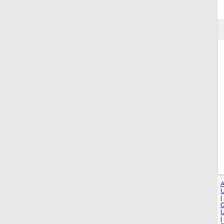Email: icvs2021@acm.tuwien.ac.at
ICVR--SCI 2023   2023 the 9th Internation
JCRAI 2022-Ei Compendex & Scopus 2022  2022)
CETA--Ei 2023   2023 2nd International Co
EI-CFAIS 2022   2022 International Confer
DDECS 2023   26th International Symposi
IOP, EI, Scopus-PRECE 2022   2022 Intern  2022)-EI Compendex
Sensors journal 2022   Special Issue on E
EI-ISoIRS 2022   2022 3rd International Sy
CCVPR 2022   2022 5th International Join
CCAI 2023   IEEE--2023 3rd International
About Us | Contact Us | Data | Privacy Policy | Terms a
Partners: AI2's Semantic Scholar
This wiki is licensed under a Creative Commons Attribu